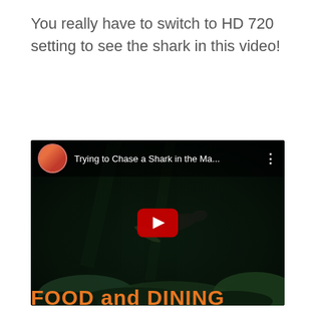You really have to switch to HD 720 setting to see the shark in this video!
[Figure (screenshot): YouTube video embed showing underwater scene with a diver chasing a shark. Video title reads 'Trying to Chase a Shark in the Ma...' with a circular avatar of a person in red swimsuit. A red YouTube play button is centered on the dark underwater image.]
FOOD and DINING